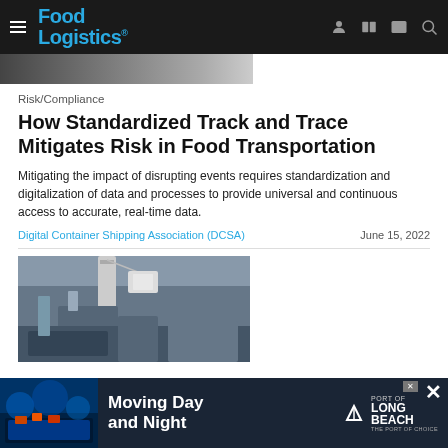Food Logistics
[Figure (photo): Partial view of a cargo/shipping scene at top of page]
Risk/Compliance
How Standardized Track and Trace Mitigates Risk in Food Transportation
Mitigating the impact of disrupting events requires standardization and digitalization of data and processes to provide universal and continuous access to accurate, real-time data.
Digital Container Shipping Association (DCSA)   June 15, 2022
[Figure (photo): Port/shipping cargo crane and ship loading scene]
[Figure (photo): Advertisement banner: Moving Day and Night - Port of Long Beach, The Port of Choice]